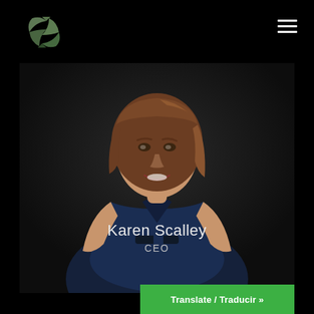[Figure (logo): Green globe/leaf swirl logo icon in olive/sage green tones on black background]
[Figure (photo): Professional portrait photo of Karen Scalley, a woman with medium-length brown hair wearing a dark navy dress, smiling, posed against a dark background. Name 'Karen Scalley' and title 'CEO' are overlaid in white/light text on the photo.]
Karen Scalley
CEO
Translate / Traducir »